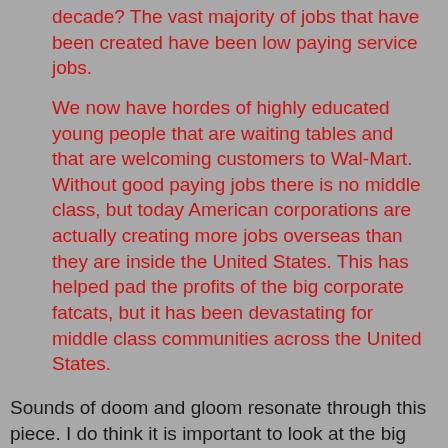decade? The vast majority of jobs that have been created have been low paying service jobs.
We now have hordes of highly educated young people that are waiting tables and that are welcoming customers to Wal-Mart. Without good paying jobs there is no middle class, but today American corporations are actually creating more jobs overseas than they are inside the United States. This has helped pad the profits of the big corporate fatcats, but it has been devastating for middle class communities across the United States.
Sounds of doom and gloom resonate through this piece. I do think it is important to look at the big picture. I do think there are structural changes underway in our economy that will become real obvious AFTER they have fully taken effect. We'll look back and say, "Wow, so that is what was happening!"
Times are hard and they are going to get harder, but that doesn't mean that we need their icing the...